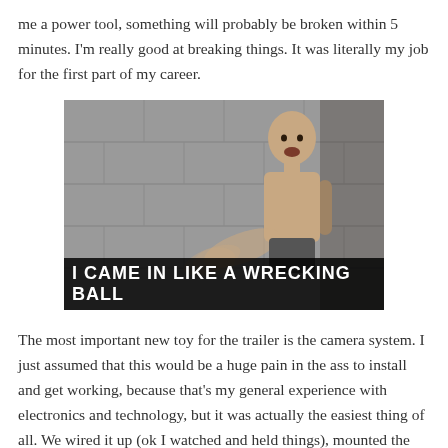me a power tool, something will probably be broken within 5 minutes. I'm really good at breaking things. It was literally my job for the first part of my career.
[Figure (photo): A shirtless young man appearing to punch or swing forward against a grey concrete block wall background, with the meme caption 'I CAME IN LIKE A WRECKING BALL' overlaid at the bottom.]
The most important new toy for the trailer is the camera system. I just assumed that this would be a huge pain in the ass to install and get working, because that's my general experience with electronics and technology, but it was actually the easiest thing of all. We wired it up (ok I watched and held things), mounted the